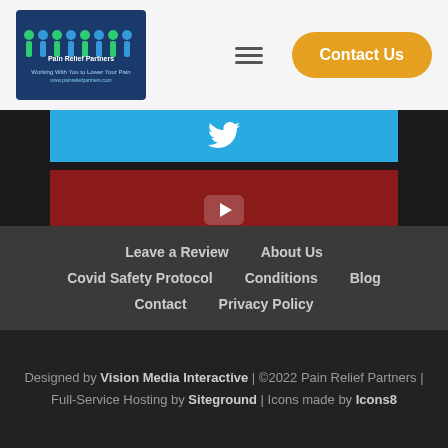[Figure (logo): Pain Relief Partners logo with blue background, people figures in green and blue, text 'Pain Relief Partners - Working With You to Lower Your Pain']
[Figure (infographic): Three social media icons in colored bars: Twitter (blue), YouTube (dark red), Instagram (slate blue)]
Leave a Review   About Us   Covid Safety Protocol   Conditions   Blog   Contact   Privacy Policy
Designed by Vision Media Interactive | ©2022 Pain Relief Partners | Full-Service Hosting by Siteground | Icons made by Icons8